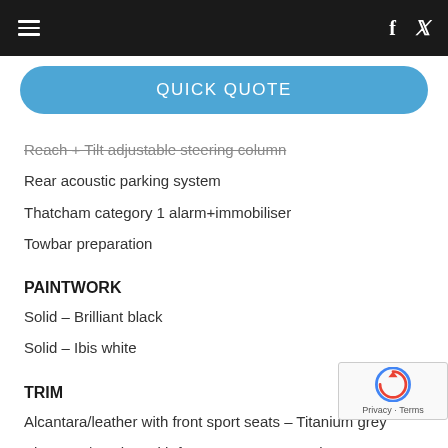≡  f  🐦
QUICK QUOTE
Reach + Tilt adjustable steering column
Rear acoustic parking system
Thatcham category 1 alarm+immobiliser
Towbar preparation
PAINTWORK
Solid – Brilliant black
Solid – Ibis white
TRIM
Alcantara/leather with front sport seats – Titanium grey
Alcantara/Leather with front sports seats – Black
Milano leather – Black
Milano leather – Pistachio beige
Milano leather – Titanium...